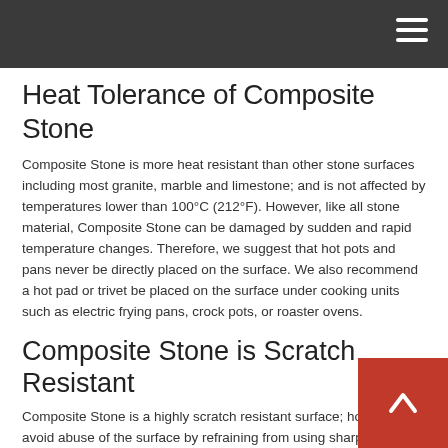Heat Tolerance of Composite Stone
Composite Stone is more heat resistant than other stone surfaces including most granite, marble and limestone; and is not affected by temperatures lower than 100°C (212°F). However, like all stone material, Composite Stone can be damaged by sudden and rapid temperature changes. Therefore, we suggest that hot pots and pans never be directly placed on the surface. We also recommend a hot pad or trivet be placed on the surface under cooking units such as electric frying pans, crock pots, or roaster ovens.
Composite Stone is Scratch Resistant
Composite Stone is a highly scratch resistant surface; however avoid abuse of the surface by refraining from using sharp objects such as sharp knives or screw drivers directly onto the surface.
Cleaning Agents to Avoid with Composite Stone